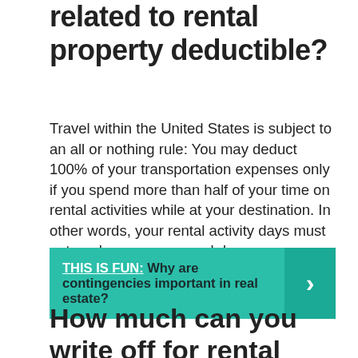related to rental property deductible?
Travel within the United States is subject to an all or nothing rule: You may deduct 100% of your transportation expenses only if you spend more than half of your time on rental activities while at your destination. In other words, your rental activity days must outnumber your personal days.
THIS IS FUN: Why are contingencies important in real estate?
How much can you write off for rental property?